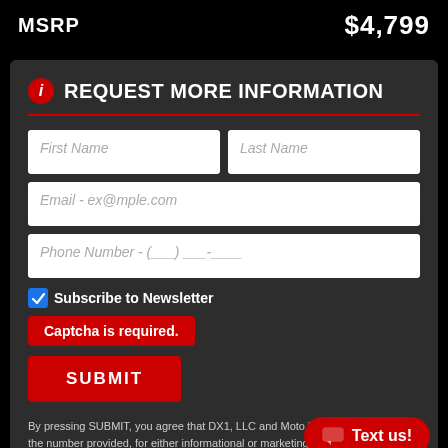MSRP
$4,799
REQUEST MORE INFORMATION
First Name
Last Name
Email - ex@mple.com
Phone Number - (___) ___-____
Subscribe to Newsletter
Captcha is required.
SUBMIT
By pressing SUBMIT, you agree that DX1, LLC and Moto Union the number provided, for either informational or marketing pu automatic telephone dialing system or pre-recorded/artificial vo rates may apply. You don't need to consent as a condition of any purchase & you
Text us!